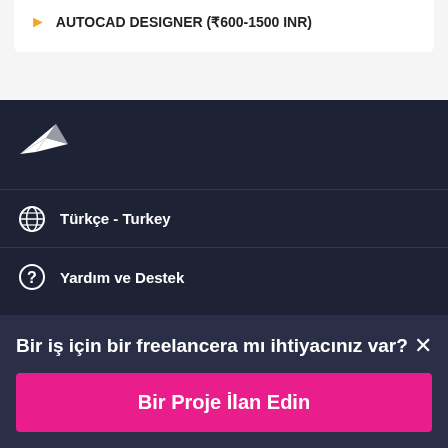AUTOCAD DESIGNER (₹600-1500 INR)
[Figure (logo): Freelancer.com white origami bird/hummingbird logo on dark navy background]
Türkçe - Turkey
Yardım ve Destek
Bir iş için bir freelancera mı ihtiyacınız var?
Bir Proje İlan Edin